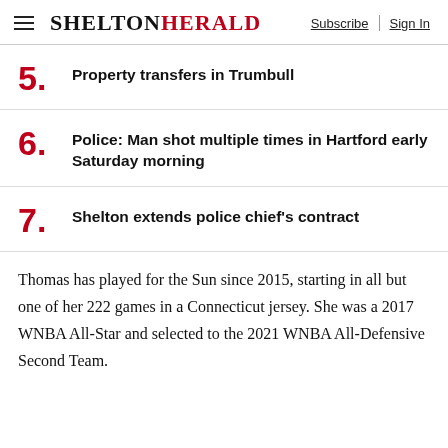SHELTON HERALD — Subscribe | Sign In
5. Property transfers in Trumbull
6. Police: Man shot multiple times in Hartford early Saturday morning
7. Shelton extends police chief's contract
Thomas has played for the Sun since 2015, starting in all but one of her 222 games in a Connecticut jersey. She was a 2017 WNBA All-Star and selected to the 2021 WNBA All-Defensive Second Team.